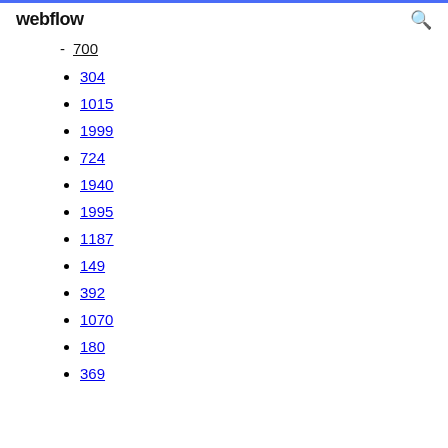webflow
700
304
1015
1999
724
1940
1995
1187
149
392
1070
180
369